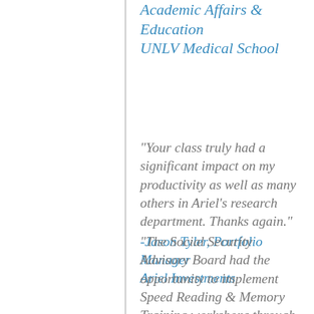Academic Affairs & Education UNLV Medical School
“Your class truly had a significant impact on my productivity as well as many others in Ariel’s research department. Thanks again.” -Jason Tyler, Portfolio Manager Ariel Investments
“The Social Security Advisory Board had the opportunity to implement Speed Reading & Memory Training workshops through Iris Reading on